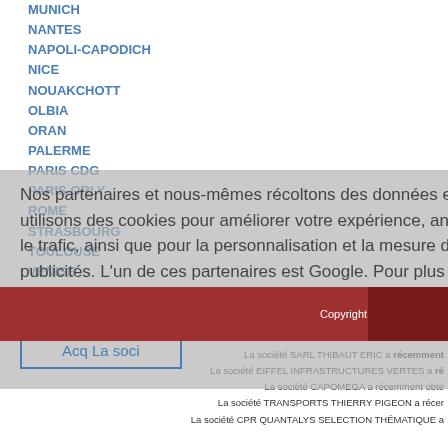MUNICH
NANTES
NAPOLI-CAPODICH
NICE
NOUAKCHOTT
OLBIA
ORAN
PALERME
PARIS CDG
PARIS ORLY
ROME
STRASBOURG
TOULOUSE
VENISE
Nos partenaires et nous-mêmes récoltons des données et utilisons des cookies pour améliorer votre expérience, analyser le trafic, ainsi que pour la personnalisation et la mesure des publicités. L'un de ces partenaires est Google. Pour plus d'informations, consultez notre Politique en matière de cookies
Copyright 2010 Giovannini LLC | V
Actu La société SARL THIBAUT ERIC a récemment La société EIFFEL INFRASTRUCTURES VERTES a ré La société CAPOMEGA a récemment obte La société TRANSPORTS THIERRY PIGEON a récer La société CPR QUANTALYS SELECTION THÉMATIQUE a